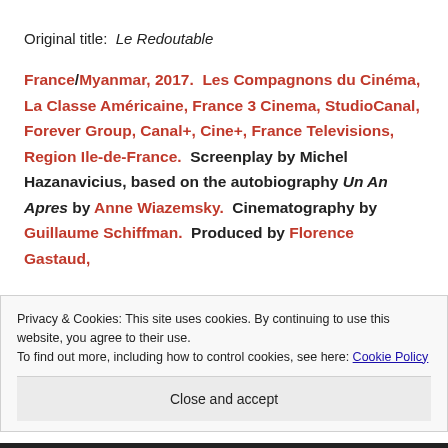Original title:  Le Redoutable
France/Myanmar, 2017.  Les Compagnons du Cinéma, La Classe Américaine, France 3 Cinema, StudioCanal, Forever Group, Canal+, Cine+, France Televisions, Region Ile-de-France.  Screenplay by Michel Hazanavicius, based on the autobiography Un An Apres by Anne Wiazemsky.  Cinematography by Guillaume Schiffman.  Produced by Florence Gastaud,
Privacy & Cookies: This site uses cookies. By continuing to use this website, you agree to their use.
To find out more, including how to control cookies, see here: Cookie Policy
Close and accept